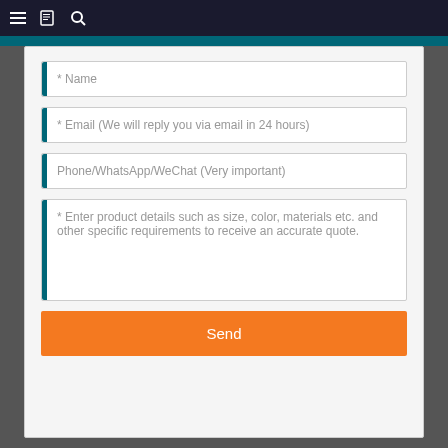Navigation bar with hamburger menu, book icon, and search icon
* Name
* Email (We will reply you via email in 24 hours)
Phone/WhatsApp/WeChat (Very important)
* Enter product details such as size, color, materials etc. and other specific requirements to receive an accurate quote.
Send